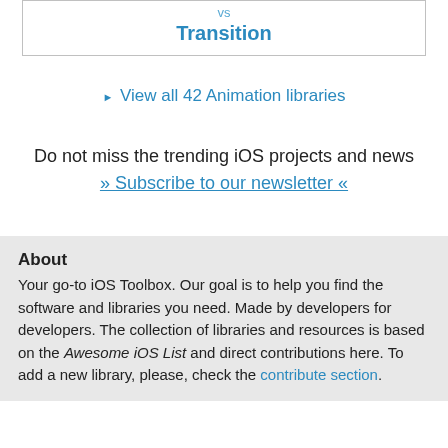| vs | Transition |
▶ View all 42 Animation libraries
Do not miss the trending iOS projects and news
» Subscribe to our newsletter «
About
Your go-to iOS Toolbox. Our goal is to help you find the software and libraries you need. Made by developers for developers. The collection of libraries and resources is based on the Awesome iOS List and direct contributions here. To add a new library, please, check the contribute section.